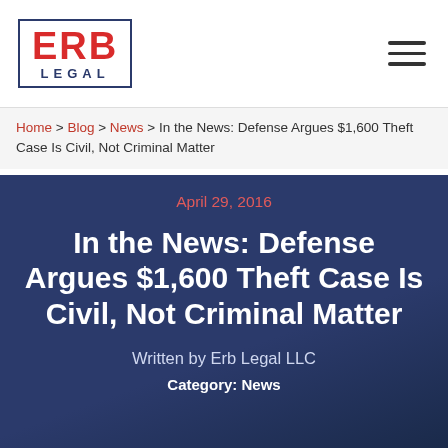[Figure (logo): ERB Legal logo — red bold ERB letters inside a navy blue rectangular border with LEGAL text below]
Home > Blog > News > In the News: Defense Argues $1,600 Theft Case Is Civil, Not Criminal Matter
April 29, 2016
In the News: Defense Argues $1,600 Theft Case Is Civil, Not Criminal Matter
Written by Erb Legal LLC
Category: News